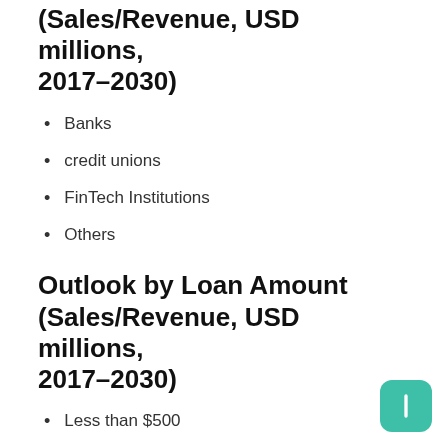(Sales/Revenue, USD millions, 2017–2030)
Banks
credit unions
FinTech Institutions
Others
Outlook by Loan Amount (Sales/Revenue, USD millions, 2017–2030)
Less than $500
$500 to $4,999
$5,000 to $10,000
Over 10,000
From end-user perspectives (Sales/Revenue, USD millions,